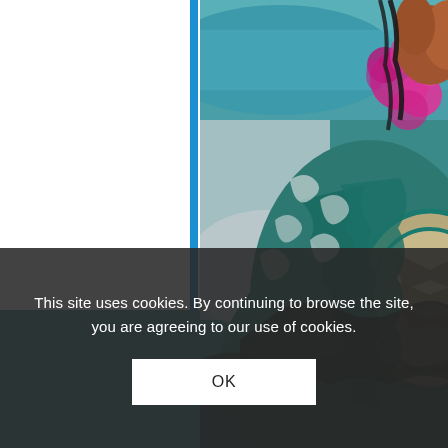[Figure (photo): A person wearing a teal and cream patterned top or bag with geometric and floral designs, with colorful flowers (pink and orange) visible, set against a teal/blue background. A white vertical panel is on the left with a bright blue vertical stripe accent.]
This site uses cookies. By continuing to browse the site, you are agreeing to our use of cookies.